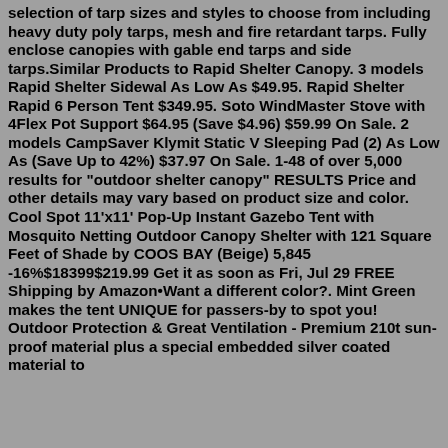selection of tarp sizes and styles to choose from including heavy duty poly tarps, mesh and fire retardant tarps. Fully enclose canopies with gable end tarps and side tarps.Similar Products to Rapid Shelter Canopy. 3 models Rapid Shelter Sidewal As Low As $49.95. Rapid Shelter Rapid 6 Person Tent $349.95. Soto WindMaster Stove with 4Flex Pot Support $64.95 (Save $4.96) $59.99 On Sale. 2 models CampSaver Klymit Static V Sleeping Pad (2) As Low As (Save Up to 42%) $37.97 On Sale. 1-48 of over 5,000 results for "outdoor shelter canopy" RESULTS Price and other details may vary based on product size and color. Cool Spot 11'x11' Pop-Up Instant Gazebo Tent with Mosquito Netting Outdoor Canopy Shelter with 121 Square Feet of Shade by COOS BAY (Beige) 5,845 -16%$18399$219.99 Get it as soon as Fri, Jul 29 FREE Shipping by Amazon•Want a different color?. Mint Green makes the tent UNIQUE for passers-by to spot you! Outdoor Protection & Great Ventilation - Premium 210t sun-proof material plus a special embedded silver coated material to